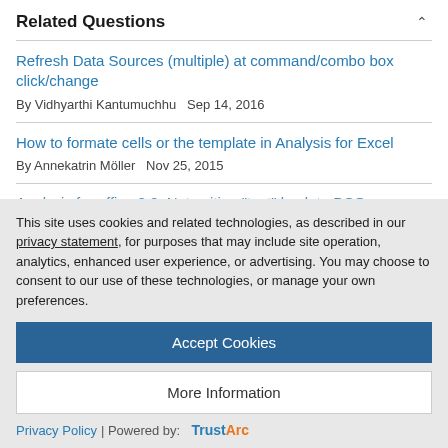Related Questions
Refresh Data Sources (multiple) at command/combo box click/change
By Vidhyarthi Kantumuchhu   Sep 14, 2016
How to formate cells or the template in Analysis for Excel
By Annekatrin Möller   Nov 25, 2015
Analysis for office 2.2: Not writing "text" back to DSO
This site uses cookies and related technologies, as described in our privacy statement, for purposes that may include site operation, analytics, enhanced user experience, or advertising. You may choose to consent to our use of these technologies, or manage your own preferences.
Accept Cookies
More Information
Privacy Policy | Powered by: TrustArc